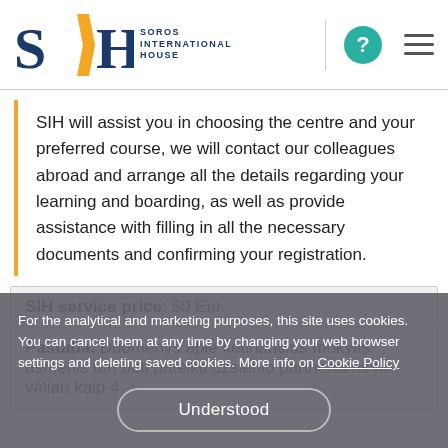SIH Soros International House
SIH will assist you in choosing the centre and your preferred course, we will contact our colleagues abroad and arrange all the details regarding your learning and boarding, as well as provide assistance with filling in all the necessary documents and confirming your registration.
| SIH service price: 50 Eur. |
| Pastaba. Duomenys apie ketinančius mokytis asmenis turi būti pateikti užsienio partneriams ne vėliau kaip 4 |
For the analytical and marketing purposes, this site uses cookies. You can cancel them at any time by changing your web browser settings and deleting saved cookies. More info on Cookie Policy
Understood